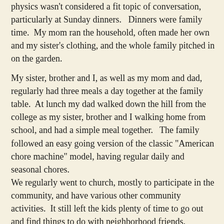physics wasn't considered a fit topic of conversation, particularly at Sunday dinners.   Dinners were family time.  My mom ran the household, often made her own and my sister's clothing, and the whole family pitched in on the garden.

My sister, brother and I, as well as my mom and dad, regularly had three meals a day together at the family table.  At lunch my dad walked down the hill from the college as my sister, brother and I walking home from school, and had a simple meal together.   The family followed an easy going version of the classic "American chore machine" model, having regular daily and seasonal chores.
We regularly went to church, mostly to participate in the community, and have various other community activities.  It still left the kids plenty of time to go out and find things to do with neighborhood friends.

My dad and I also spent endless hours talking about what you could observe in natural phenomena of all kinds, in the garden, looking out the window or walking around, exploring how the world worked.   We also did various projects up in his physics lab or in our workshop in the basement at home.   He was quite a skillful teacher and taught me a lot of